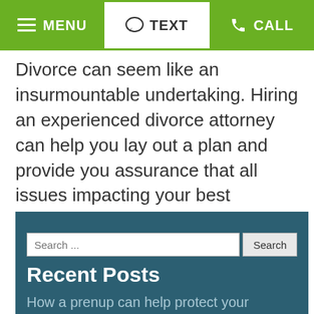MENU | TEXT | CALL
Divorce can seem like an insurmountable undertaking. Hiring an experienced divorce attorney can help you lay out a plan and provide you assurance that all issues impacting your best interests are accounted for.
Recent Posts
How a prenup can help protect your inheritance in a divorce
What are my options for visitation when I'm